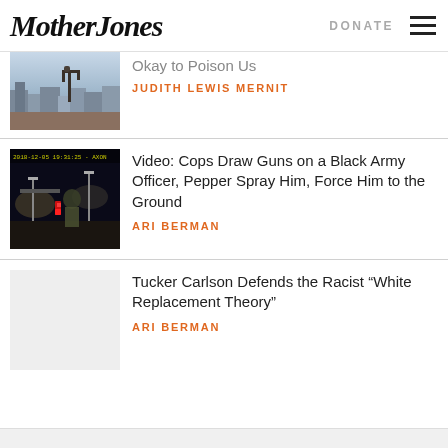Mother Jones | DONATE
[Figure (photo): Oil pump jack against urban skyline with buildings]
Okay to Poison Us
JUDITH LEWIS MERNIT
[Figure (photo): Night time gas station with a Black Army officer, dashcam footage timestamp visible]
Video: Cops Draw Guns on a Black Army Officer, Pepper Spray Him, Force Him to the Ground
ARI BERMAN
Tucker Carlson Defends the Racist “White Replacement Theory”
ARI BERMAN